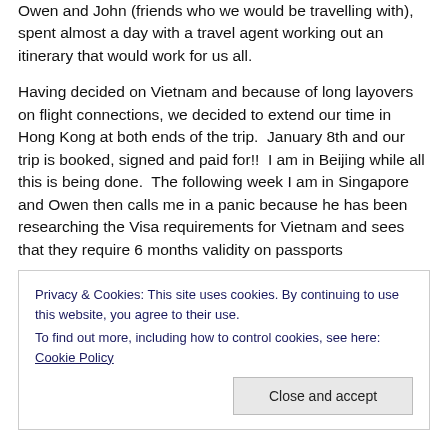Owen and John (friends who we would be travelling with), spent almost a day with a travel agent working out an itinerary that would work for us all.
Having decided on Vietnam and because of long layovers on flight connections, we decided to extend our time in Hong Kong at both ends of the trip.  January 8th and our trip is booked, signed and paid for!!  I am in Beijing while all this is being done.  The following week I am in Singapore and Owen then calls me in a panic because he has been researching the Visa requirements for Vietnam and sees that they require 6 months validity on passports
Privacy & Cookies: This site uses cookies. By continuing to use this website, you agree to their use.
To find out more, including how to control cookies, see here: Cookie Policy